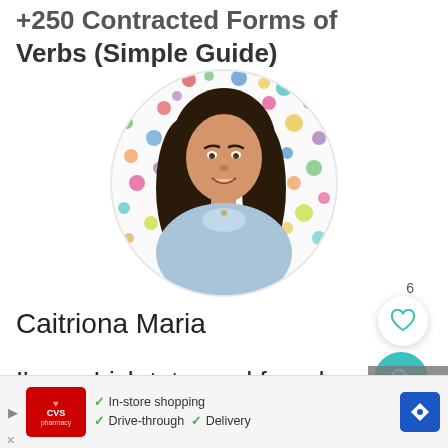Verbs (Simple Guide)
[Figure (photo): Circular profile photo of Caitriona Maria, a woman with long dark hair, smiling, wearing a light blue denim shirt, against a colorful polka-dot background]
Caitriona Maria
I'm an Irish tutor and founder
[Figure (infographic): CVS Pharmacy advertisement banner showing: In-store shopping, Drive-through, Delivery options with a navigation arrow button]